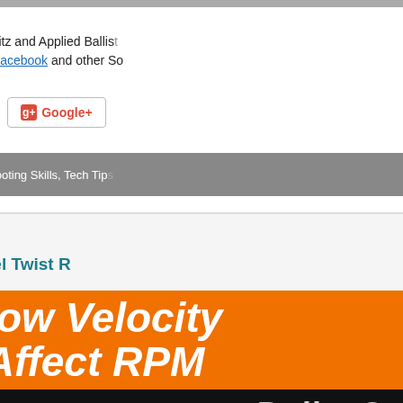BIG NEWS Coming Soon: Bryan Litz and Applied Ballist... Announcement will be featured on Facebook and other So...
[Figure (screenshot): Social share buttons: Facebook, Twitter, Google+]
Permalink - Articles, Shooting Skills, Tech Tip...
April 19th, 2022
Bullet Stability and Barrel Twist R...
[Figure (illustration): Orange banner with white italic bold text: How Velocity Affect RPM]
[Figure (illustration): Dark banner with italic gray text: BULLET ST...]